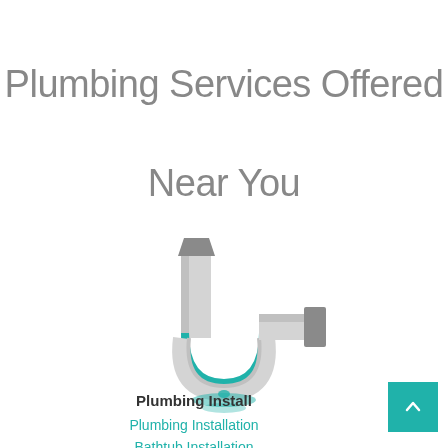Plumbing Services Offered Near You
[Figure (illustration): Illustration of a P-trap plumbing pipe with teal water pooling beneath it, pipes shown in light gray and dark gray with teal water at the bottom]
Plumbing Install
Plumbing Installation
Bathtub Installation